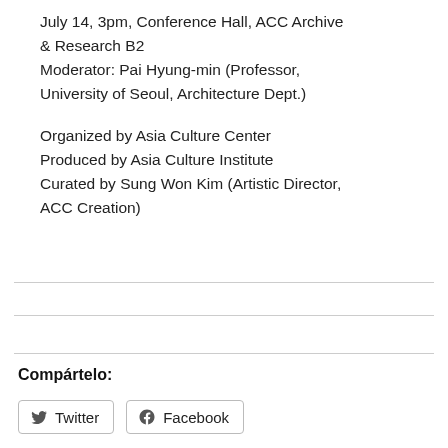July 14, 3pm, Conference Hall, ACC Archive & Research B2
Moderator: Pai Hyung-min (Professor, University of Seoul, Architecture Dept.)
Organized by Asia Culture Center
Produced by Asia Culture Institute
Curated by Sung Won Kim (Artistic Director, ACC Creation)
Compártelo:
Twitter
Facebook